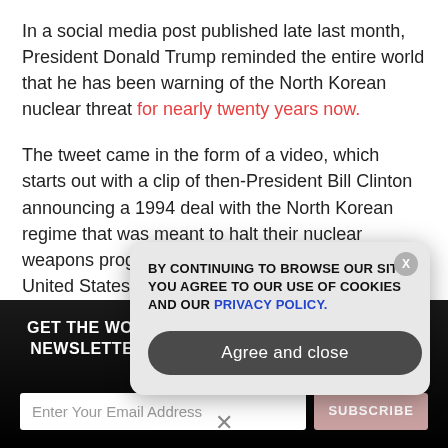In a social media post published late last month, President Donald Trump reminded the entire world that he has been warning of the North Korean nuclear threat for nearly twenty years now.
The tweet came in the form of a video, which starts out with a clip of then-President Bill Clinton announcing a 1994 deal with the North Korean regime that was meant to halt their nuclear weapons program in exchange for aid from the United States. "This is a good deal for the United States," Clinton says in the clip. "North Korea will freeze and then dismantle its nuclear program." The for...
GET THE WORLD'S MOST INDEPENDENT MEDIA NEWSLETTER DELIVERED STRAIGHT TO YOUR INBOX.
BY CONTINUING TO BROWSE OUR SITE YOU AGREE TO OUR USE OF COOKIES AND OUR PRIVACY POLICY.
Agree and close